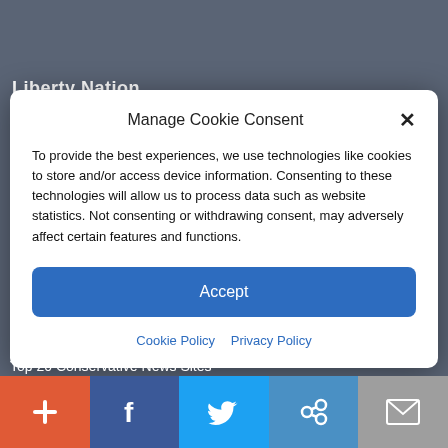Liberty Nation
Manage Cookie Consent
To provide the best experiences, we use technologies like cookies to store and/or access device information. Consenting to these technologies will allow us to process data such as website statistics. Not consenting or withdrawing consent, may adversely affect certain features and functions.
Accept
Cookie Policy  Privacy Policy
Top 20 Conservative News Sites